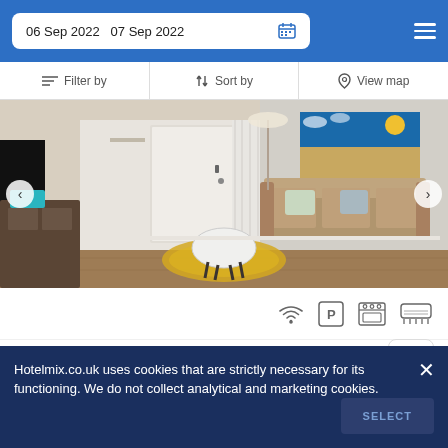06 Sep 2022  07 Sep 2022
Filter by  Sort by  View map
[Figure (photo): Interior living room photo showing a beige sofa with pillows, a round coffee table on a yellow rug, hardwood floors, white walls and door, and a beach-themed painting on the wall]
WiFi  Parking  Kitchen  Air conditioning amenities icons
1.8 mi from City Centre
Hotelmix.co.uk uses cookies that are strictly necessary for its functioning. We do not collect analytical and marketing cookies.